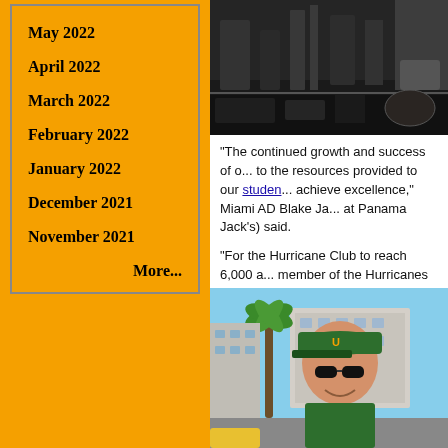May 2022
April 2022
March 2022
February 2022
January 2022
December 2021
November 2021
More...
[Figure (photo): Indoor bar or gym scene with equipment, dark background]
“The continued growth and success of o... to the resources provided to our students... achieve excellence,” Miami AD Blake Ja... at Panama Jack’s) said.
“For the Hurricane Club to reach 6,000 a... member of the Hurricanes Family. Togeth...
After record-setting new membership n... Club is well on target to hit the 3 year g...
[Figure (photo): Man wearing green University of Miami Hurricanes cap and sunglasses, outdoors in urban setting]